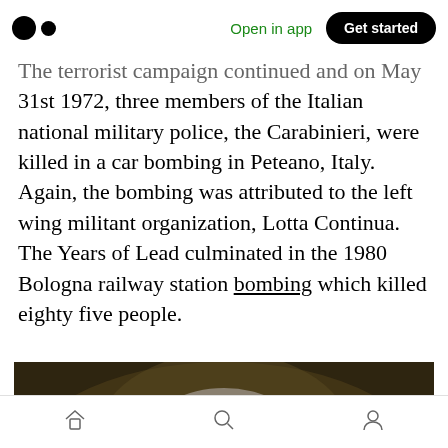Open in app | Get started
The terrorist campaign continued and on May 31st 1972, three members of the Italian national military police, the Carabinieri, were killed in a car bombing in Peteano, Italy. Again, the bombing was attributed to the left wing militant organization, Lotta Continua. The Years of Lead culminated in the 1980 Bologna railway station bombing which killed eighty five people.
[Figure (photo): Portrait photograph of a man with gray hair and glasses, shown from the shoulders up against a blurred dark background.]